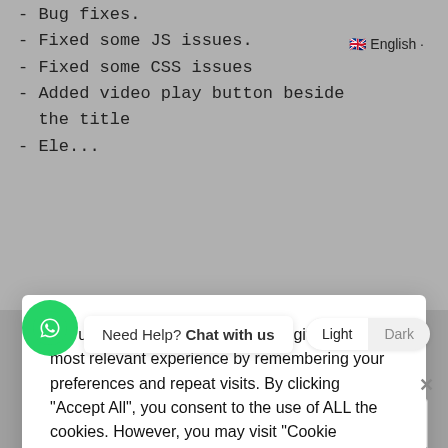- Bug fixes.
- Fixed some JS issues.
- Fixed some CSS issues
- Added video play button beside the title
We use cookies on our website to give you the most relevant experience by remembering your preferences and repeat visits. By clicking "Accept All", you consent to the use of ALL the cookies. However, you may visit "Cookie Settings" to provide a controlled consent.
Cookie Settings | Accept All
$40.00 – Purchase
Need Help? Chat with us
Light Dark